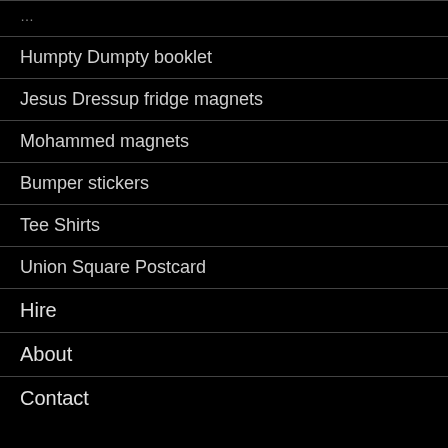Humpty Dumpty booklet
Jesus Dressup fridge magnets
Mohammed magnets
Bumper stickers
Tee Shirts
Union Square Postcard
Hire
About
Contact
RECENT POSTS
Conservative Atheist Podcast interview...